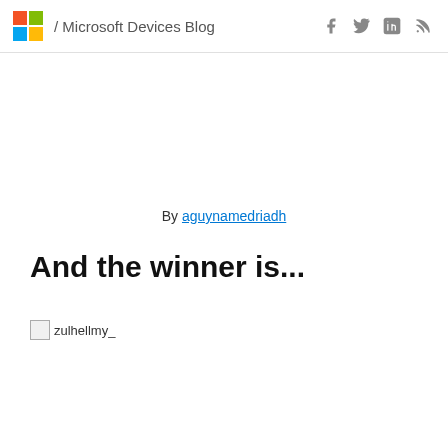/ Microsoft Devices Blog
By aguynamedriadh
And the winner is...
[Figure (other): Broken image placeholder with text 'zulhellmy_']